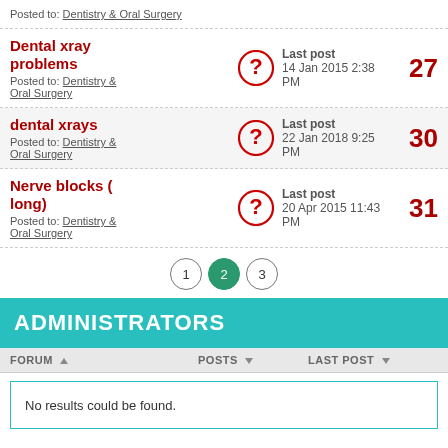Posted to: Dentistry & Oral Surgery
Dental xray problems
Posted to: Dentistry & Oral Surgery
Last post 14 Jan 2015 2:38 PM
27
dental xrays
Posted to: Dentistry & Oral Surgery
Last post 22 Jan 2018 9:25 PM
30
Nerve blocks ( long)
Posted to: Dentistry & Oral Surgery
Last post 20 Apr 2015 11:43 PM
31
1 2 3
ADMINISTRATORS
FORUM ▲   POSTS ▼   LAST POST ▼
No results could be found.